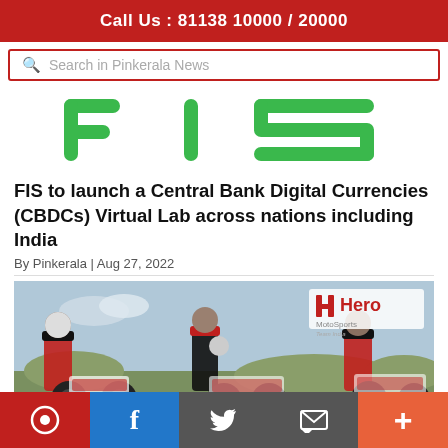Call Us : 81138 10000 / 20000
Search in Pinkerala News
[Figure (logo): FIS company logo in green rounded letters on white background]
FIS to launch a Central Bank Digital Currencies (CBDCs) Virtual Lab across nations including India
By Pinkerala | Aug 27, 2022
[Figure (photo): Three motorcycle riders in red and white Hero MotoSports racing suits standing with Hero dirt bikes outdoors. Hero MotoSports logo visible in top right corner.]
Social share bar with icons: chat bubble, f (Facebook), Twitter bird, email/envelope, plus (+)